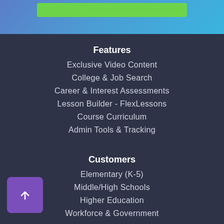[Figure (screenshot): Top decorative bar with blue/teal gradient background and a green button element at the top]
Features
Exclusive Video Content
College & Job Search
Career & Interest Assessments
Lesson Builder - FlexLessons
Course Curriculum
Admin Tools & Tracking
Customers
Elementary (K-5)
Middle/High Schools
Higher Education
Workforce & Government
Career Exploration